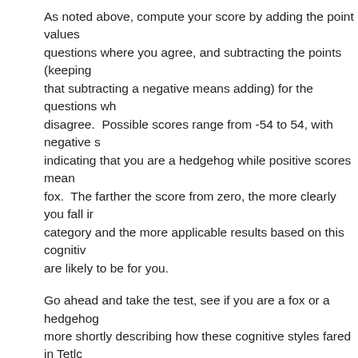As noted above, compute your score by adding the point values for questions where you agree, and subtracting the points (keeping in mind that subtracting a negative means adding) for the questions where you disagree.  Possible scores range from -54 to 54, with negative scores indicating that you are a hedgehog while positive scores mean you are a fox.  The farther the score from zero, the more clearly you fall into that category and the more applicable results based on this cognitive style are likely to be for you.
Go ahead and take the test, see if you are a fox or a hedgehog, and more shortly describing how these cognitive styles fared in Tetlo
Rating: +4 votes
Tagged as: Psychology
Trackback URL: https://www.overcomingbias.com/2006/11/quiz_fox_or_hed.html/trac